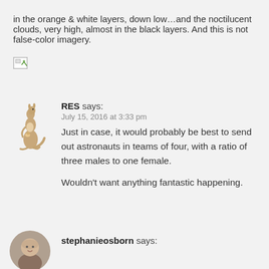in the orange & white layers, down low…and the noctilucent clouds, very high, almost in the black layers. And this is not false-color imagery.
[Figure (other): Broken image icon/placeholder]
RES says:
July 15, 2016 at 3:33 pm
Just in case, it would probably be best to send out astronauts in teams of four, with a ratio of three males to one female.

Wouldn't want anything fantastic happening.
[Figure (photo): Kangaroo avatar image for commenter RES]
stephanieosborn says:
[Figure (photo): Circular avatar photo of stephanieosborn]